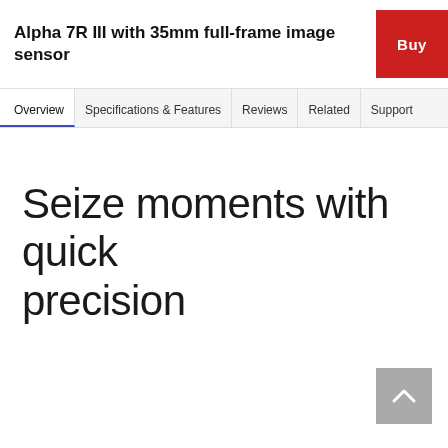Alpha 7R III with 35mm full-frame image sensor
Overview | Specifications & Features | Reviews | Related | Support
Seize moments with quick precision